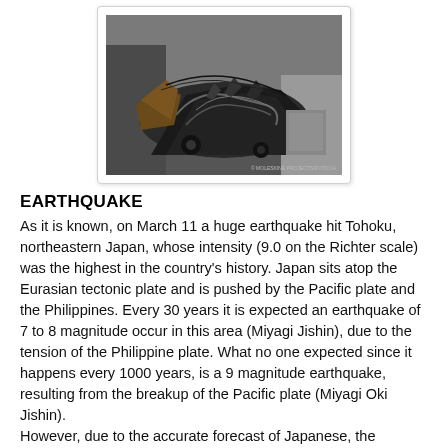[Figure (photo): Photograph of destroyed and crushed vehicles piled up, showing earthquake and tsunami damage debris]
EARTHQUAKE
As it is known, on March 11 a huge earthquake hit Tohoku, northeastern Japan, whose intensity (9.0 on the Richter scale) was the highest in the country's history. Japan sits atop the Eurasian tectonic plate and is pushed by the Pacific plate and the Philippines. Every 30 years it is expected an earthquake of 7 to 8 magnitude occur in this area (Miyagi Jishin), due to the tension of the Philippine plate. What no one expected since it happens every 1000 years, is a 9 magnitude earthquake, resulting from the breakup of the Pacific plate (Miyagi Oki Jishin).
However, due to the accurate forecast of Japanese, the earthquake itself did not cause major human and material losses, despite being 1000 times more intense than that of